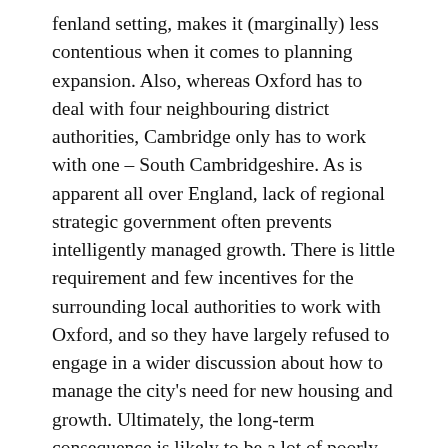fenland setting, makes it (marginally) less contentious when it comes to planning expansion. Also, whereas Oxford has to deal with four neighbouring district authorities, Cambridge only has to work with one – South Cambridgeshire. As is apparent all over England, lack of regional strategic government often prevents intelligently managed growth. There is little requirement and few incentives for the surrounding local authorities to work with Oxford, and so they have largely refused to engage in a wider discussion about how to manage the city's need for new housing and growth. Ultimately, the long-term consequence is likely to be a lot of poorly planned new housing foisted on the surrounding districts, whether they like it or not.
The situation in and around Oxford is emblematic of Britain's failed planning system and lack of long-term strategic thinking. On one level, both Oxford